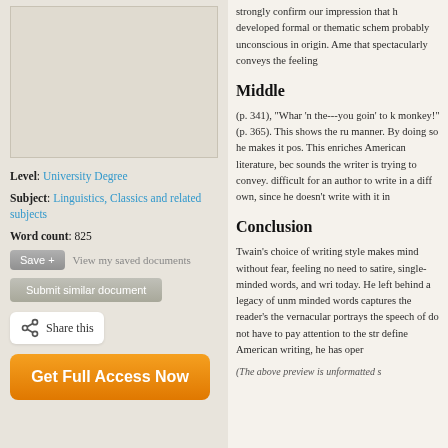[Figure (other): Document preview box placeholder]
Level: University Degree
Subject: Linguistics, Classics and related subjects
Word count: 825
Save + View my saved documents
Submit similar document
Share this
Get Full Access Now
strongly confirm our impression that h developed formal or thematic schem probably unconscious in origin. Ame that spectacularly conveys the feeling
Middle
(p. 341), "Whar 'n the---you goin' to k monkey!" (p. 365). This shows the ru manner. By doing so he makes it pos. This enriches American literature, bec sounds the writer is trying to convey. difficult for an author to write in a diff own, since he doesn't write with it in
Conclusion
Twain's choice of writing style makes mind without fear, feeling no need to satire, single-minded words, and wri today. He left behind a legacy of unm minded words captures the reader's the vernacular portrays the speech of do not have to pay attention to the str define American writing, he has oper
(The above preview is unformatted s